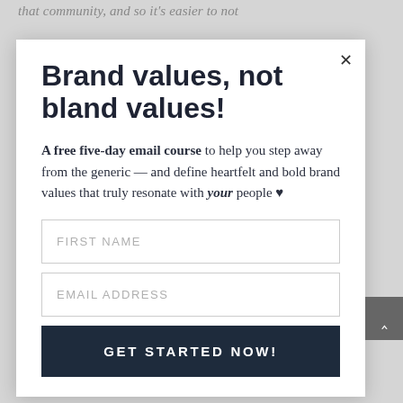that community, and so it's easier to not
Brand values, not bland values!
A free five-day email course to help you step away from the generic — and define heartfelt and bold brand values that truly resonate with your people ♥
FIRST NAME
EMAIL ADDRESS
GET STARTED NOW!